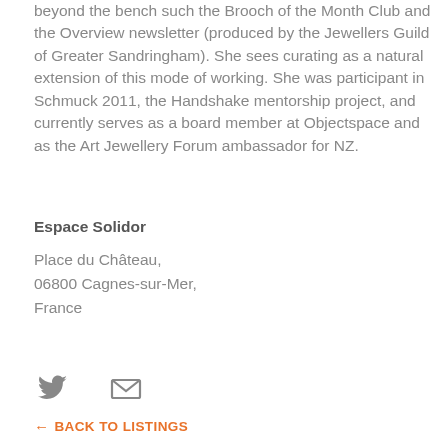beyond the bench such the Brooch of the Month Club and the Overview newsletter (produced by the Jewellers Guild of Greater Sandringham). She sees curating as a natural extension of this mode of working. She was participant in Schmuck 2011, the Handshake mentorship project, and currently serves as a board member at Objectspace and as the Art Jewellery Forum ambassador for NZ.
Espace Solidor
Place du Château,
06800 Cagnes-sur-Mer,
France
[Figure (infographic): Twitter bird icon and envelope/email icon shown as gray SVG symbols]
← BACK TO LISTINGS